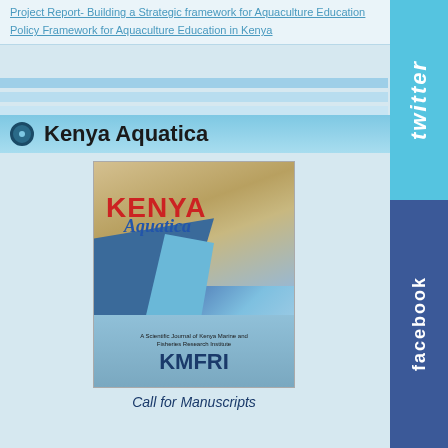Project Report- Building a Strategic framework for Aquaculture Education
Policy Framework for Aquaculture Education in Kenya
Kenya Aquatica
[Figure (photo): Cover of Kenya Aquatica journal published by KMFRI (Kenya Marine and Fisheries Research Institute), showing palm trees, water/marina scene, with KENYA Aquatica title in red and blue, and KMFRI logo at bottom.]
Call for Manuscripts